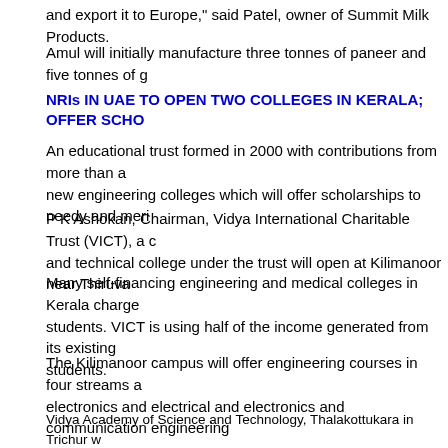and export it to Europe," said Patel, owner of Summit Milk Products.
Amul will initially manufacture three tonnes of paneer and five tonnes of g
NRIs IN UAE TO OPEN TWO COLLEGES IN KERALA; OFFER SCHO
An educational trust formed in 2000 with contributions from more than a new engineering colleges which will offer scholarships to needy and meri
P K Ashokan, Chairman, Vidya International Charitable Trust (VICT), a c and technical college under the trust will open at Kilimanoor near Thiruva
Many self-financing engineering and medical colleges in Kerala charge students. VICT is using half of the income generated from its existing students.
The Kilimanoor campus will offer engineering courses in four streams a electronics and electrical and electronics and communication engineering
Vidya Academy of Science and Technology, Thalakottukara in Trichur w land. Currently 840 students enroll every year in the academy for seven u
The trust also plans to start short term courses using the available infras India or abroad, especially to the Middle East.
NEW UK VISA LAW TO HIT INDIA-UK TRADE TIES